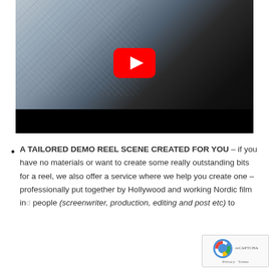[Figure (screenshot): YouTube video thumbnail showing a man in a dark suit with a stone wall background, with a YouTube play button overlay and a black bar at the bottom.]
A TAILORED DEMO REEL SCENE CREATED FOR YOU – if you have no materials or want to create some really outstanding bits for a reel, we also offer a service where we help you create one – professionally put together by Hollywood and working Nordic film industry people (screenwriter, production, editing and post etc) to